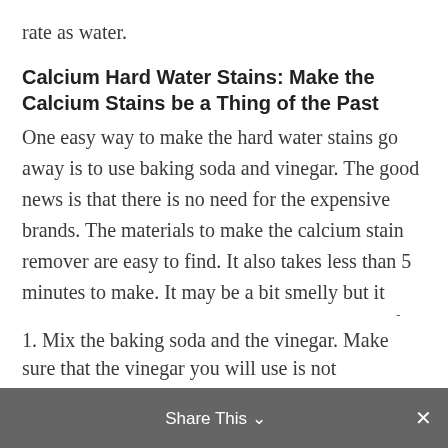rate as water.
Calcium Hard Water Stains: Make the Calcium Stains be a Thing of the Past
One easy way to make the hard water stains go away is to use baking soda and vinegar. The good news is that there is no need for the expensive brands. The materials to make the calcium stain remover are easy to find. It also takes less than 5 minutes to make. It may be a bit smelly but it does its job really well. This will be the base of your hard water stains remover.
What you need to do is to:
1. Mix the baking soda and the vinegar. Make sure that the vinegar you will use is not
Share This ×